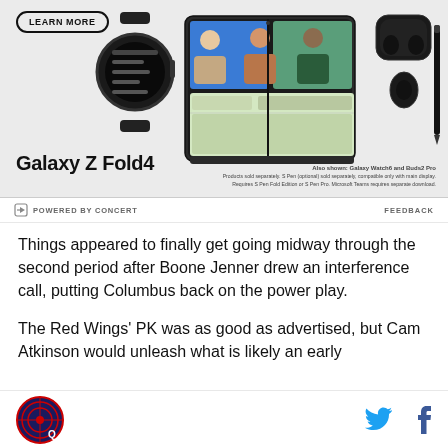[Figure (photo): Samsung Galaxy Z Fold4 advertisement showing the phone, Galaxy Watch6, Buds2 Pro, S Pen, and a video call on screen. Includes 'LEARN MORE' button.]
POWERED BY CONCERT
FEEDBACK
Things appeared to finally get going midway through the second period after Boone Jenner drew an interference call, putting Columbus back on the power play.
The Red Wings' PK was as good as advertised, but Cam Atkinson would unleash what is likely an early